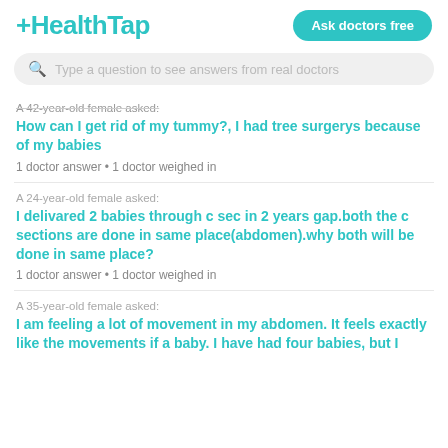+HealthTap
Ask doctors free
Type a question to see answers from real doctors
A 42-year-old female asked:
How can I get rid of my tummy?, I had tree surgerys because of my babies
1 doctor answer • 1 doctor weighed in
A 24-year-old female asked:
I delivared 2 babies through c sec in 2 years gap.both the c sections are done in same place(abdomen).why both will be done in same place?
1 doctor answer • 1 doctor weighed in
A 35-year-old female asked:
I am feeling a lot of movement in my abdomen. It feels exactly like the movements if a baby. I have had four babies, but I